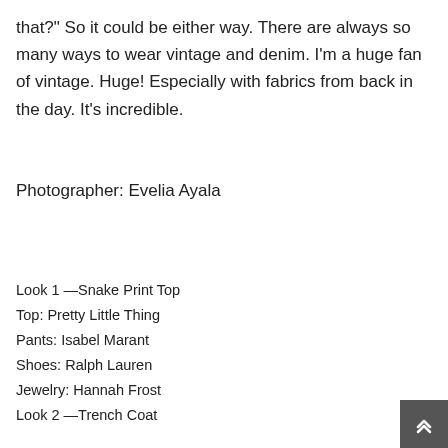that?" So it could be either way. There are always so many ways to wear vintage and denim. I'm a huge fan of vintage. Huge! Especially with fabrics from back in the day. It's incredible.
Photographer: Evelia Ayala
Look 1 —Snake Print Top
Top: Pretty Little Thing
Pants: Isabel Marant
Shoes: Ralph Lauren
Jewelry: Hannah Frost
Look 2 —Trench Coat